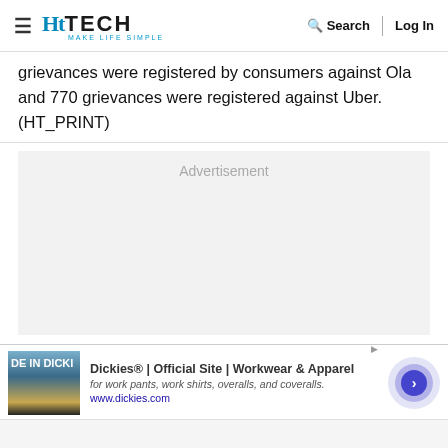HT TECH — MAKE LIFE SIMPLE | Search | Log In
grievances were registered by consumers against Ola and 770 grievances were registered against Uber. (HT_PRINT)
[Figure (other): Advertisement placeholder box]
[Figure (other): Dickies® | Official Site | Workwear & Apparel — for work pants, work shirts, overalls, and coveralls. www.dickies.com]